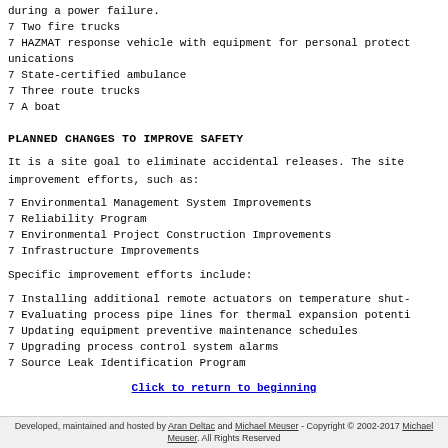during a power failure.
7 Two fire trucks
7 HAZMAT response vehicle with equipment for personal protect unications
7 State-certified ambulance
7 Three route trucks
7 A boat
PLANNED CHANGES TO IMPROVE SAFETY
It is a site goal to eliminate accidental releases. The site improvement efforts, such as:
7 Environmental Management System Improvements
7 Reliability Program
7 Environmental Project Construction Improvements
7 Infrastructure Improvements
Specific improvement efforts include:
7 Installing additional remote actuators on temperature shut-
7 Evaluating process pipe lines for thermal expansion potenti
7 Updating equipment preventive maintenance schedules
7 Upgrading process control system alarms
7 Source Leak Identification Program
Click to return to beginning
Developed, maintained and hosted by Aran Deltac and Michael Meuser - Copyright © 2002-2017 Michael Meuser. All Rights Reserved